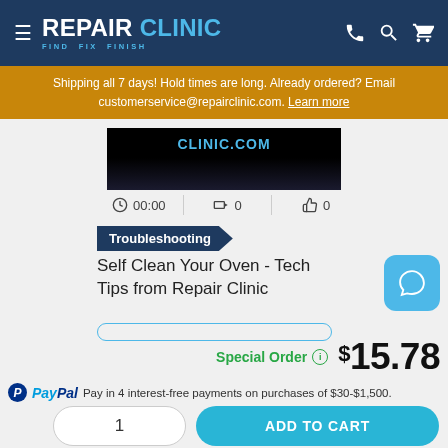REPAIR CLINIC — FIND. FIX. FINISH.
Shipping all 7 days! Hold times are long. Already ordered? Email customerservice@repairclinic.com. Learn more
[Figure (screenshot): Video thumbnail showing CLINIC.COM text on dark background]
00:00  0  0
Troubleshooting
Self Clean Your Oven - Tech Tips from Repair Clinic
Special Order  $15.78
PayPal  Pay in 4 interest-free payments on purchases of $30-$1,500.
1  ADD TO CART